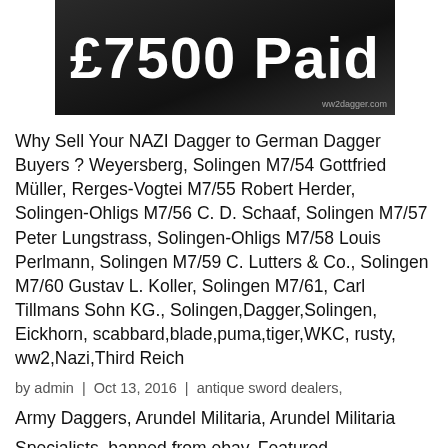[Figure (photo): Dark banner image with white bold text reading '£7500 Paid' and a small watermark 'ww2dagger.com' at bottom right]
Why Sell Your NAZI Dagger to German Dagger Buyers ? Weyersberg, Solingen M7/54 Gottfried Müller, Rerges-Vogtei M7/55 Robert Herder, Solingen-Ohligs M7/56 C. D. Schaaf, Solingen M7/57 Peter Lungstrass, Solingen-Ohligs M7/58 Louis Perlmann, Solingen M7/59 C. Lutters & Co., Solingen M7/60 Gustav L. Koller, Solingen M7/61, Carl Tillmans Sohn KG., Solingen,Dagger,Solingen, Eickhorn, scabbard,blade,puma,tiger,WKC, rusty, ww2,Nazi,Third Reich
by admin  |  Oct 13, 2016  |  antique sword dealers,
Army Daggers, Arundel Militaria, Arundel Militaria Specialists, banned from ebay, Featured, Feldherrnhalle, Flak Glasses, Forestry Cutlass, General Assault Badge, german daggers, German Militaria, how to sell German Daggers, Hunting Cutlass, HUNTING FORESTRY, Integrity and Experience, Kriegsmarine